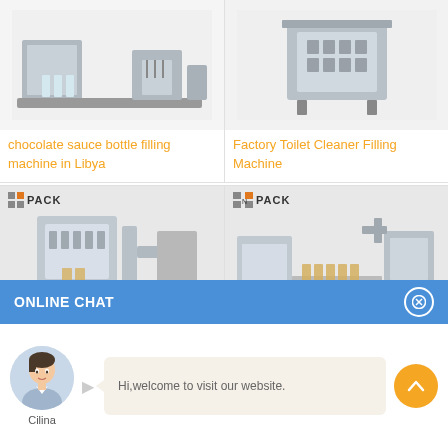[Figure (photo): Chocolate sauce bottle filling machine product image on white/grey background, top-left card]
[Figure (photo): Factory Toilet Cleaner Filling Machine product image on white/grey background, top-right card]
chocolate sauce bottle filling machine in Libya
Factory Toilet Cleaner Filling Machine
[Figure (photo): Filling machine product image with BN PACK logo, bottom-left card]
[Figure (photo): Filling machine production line image with BN PACK logo, bottom-right card]
ONLINE CHAT
[Figure (photo): Female customer service avatar named Cilina]
Hi,welcome to visit our website.
Cilina